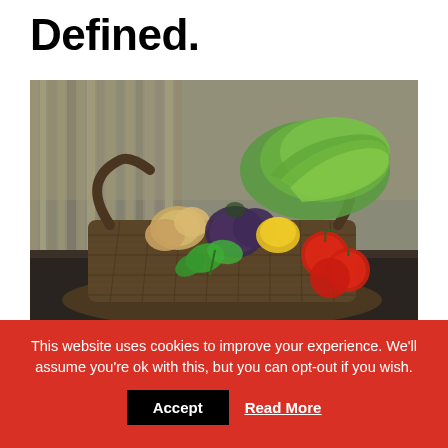Defined.
[Figure (photo): A wicker basket filled with fresh vegetables including tomatoes, mushrooms, onions, beets, yellow bell pepper, cucumber, mint leaves, and green lettuce, placed on a wooden surface with a bamboo fence background.]
This website uses cookies to improve your experience. We'll assume you're ok with this, but you can opt-out if you wish.
Accept
Read More